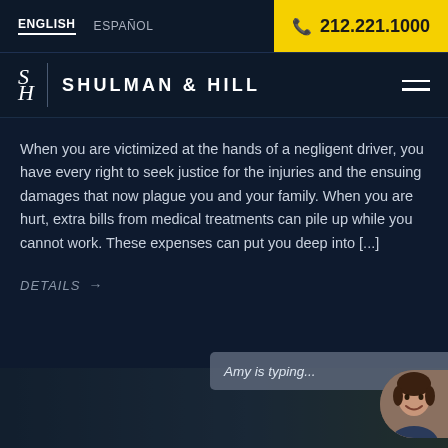ENGLISH  ESPAÑOL  212.221.1000
SHULMAN & HILL
When you are victimized at the hands of a negligent driver, you have every right to seek justice for the injuries and the ensuing damages that now plague you and your family. When you are hurt, extra bills from medical treatments can pile up while you cannot work. These expenses can put you deep into [...]
DETAILS →
[Figure (screenshot): Chat popup showing 'Amy is typing...' with avatar of a smiling woman, overlaid on bottom portion of page]